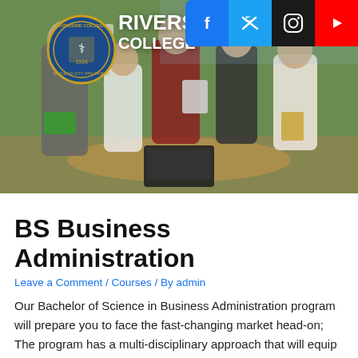[Figure (photo): Group of young business professionals in formal attire discussing around a table with a laptop, inside an office with green wall. Riverside College seal and social media icons overlaid on the image.]
BS Business Administration
Leave a Comment / Courses / By admin
Our Bachelor of Science in Business Administration program will prepare you to face the fast-changing market head-on; The program has a multi-disciplinary approach that will equip you to effectively manage all aspects of operations, management